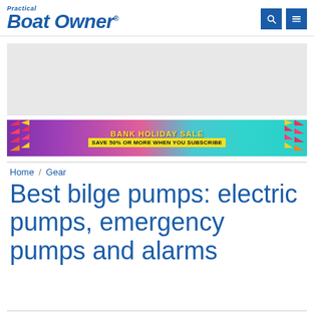Practical Boat Owner
[Figure (other): Grey placeholder advertisement rectangle]
[Figure (other): Bank Holiday Sale banner advertisement — colorful purple/teal gradient with text: BANK HOLIDAY SALE, SAVE 50% OR MORE WHEN YOU SUBSCRIBE]
Home / Gear
Best bilge pumps: electric pumps, emergency pumps and alarms